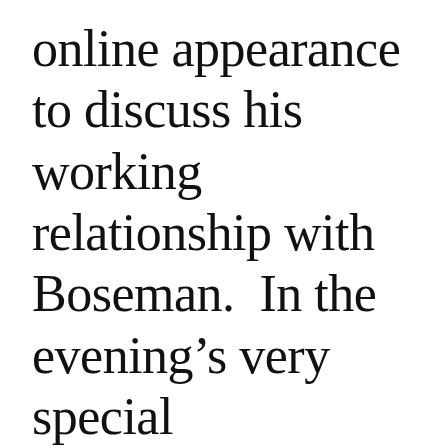online appearance to discuss his working relationship with Boseman.  In the evening's very special presentation, Chicago-based film archivist, academic, author